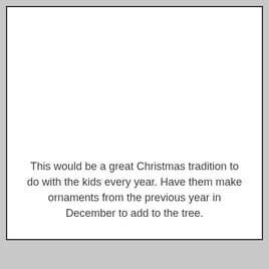This would be a great Christmas tradition to do with the kids every year.  Have them make ornaments from the previous year in December to add to the tree.